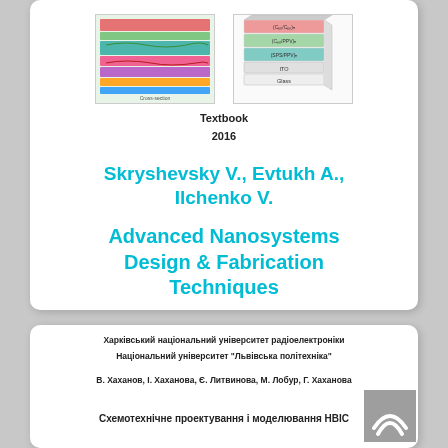[Figure (illustration): Two scientific/engineering diagrams showing nanosystem layer structures]
Textbook
2016
Skryshevsky V., Evtukh A., Ilchenko V.
Advanced Nanosystems Design & Fabrication Techniques
Харківський національний університет радіоелектроніки
Національний університет "Львівська політехніка"
В. Хаханов, І. Хаханова, Є. Литвинова, М. Лобур, Г. Хаханова
Схемотехнічне проектування і моделювання НВІС
[Figure (logo): Publisher logo with two chevron/arch shapes on grey background]